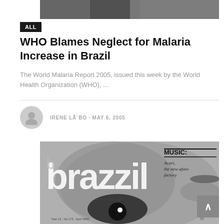[Figure (photo): Partial black and white photo at top of page, cropped]
ALL
WHO Blames Neglect for Malaria Increase in Brazil
The World Malaria Report 2005, issued this week by the World Health Organization (WHO), ...
IRENE LÃ´BO · MAY 6, 2005
[Figure (photo): Brazzil magazine cover showing close-up black and white face with large stylized logo text 'brazzil', music section note 'Acari, the new aforo factory', website www.brazzil.com, Year 12, No 172, April 2000]